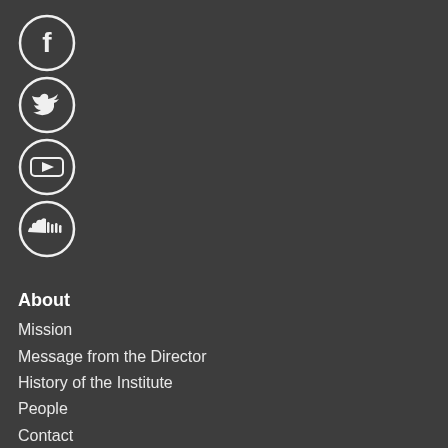[Figure (infographic): Four social media icons in circles: Facebook, Twitter, YouTube, SoundCloud]
About
Mission
Message from the Director
History of the Institute
People
Contact
Resources